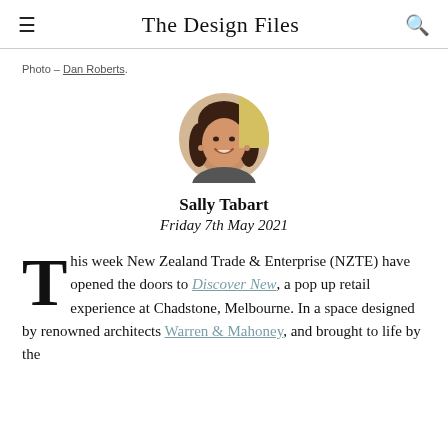The Design Files
Photo – Dan Roberts.
[Figure (photo): Circular portrait photo of Sally Tabart, a woman with dark shoulder-length hair, smiling, with a colorful background.]
Sally Tabart
Friday 7th May 2021
This week New Zealand Trade & Enterprise (NZTE) have opened the doors to Discover New, a pop up retail experience at Chadstone, Melbourne. In a space designed by renowned architects Warren & Mahoney, and brought to life by the